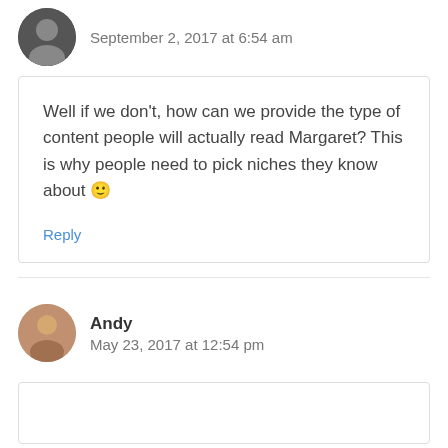September 2, 2017 at 6:54 am
Well if we don't, how can we provide the type of content people will actually read Margaret? This is why people need to pick niches they know about 🙂
Reply
Andy
May 23, 2017 at 12:54 pm